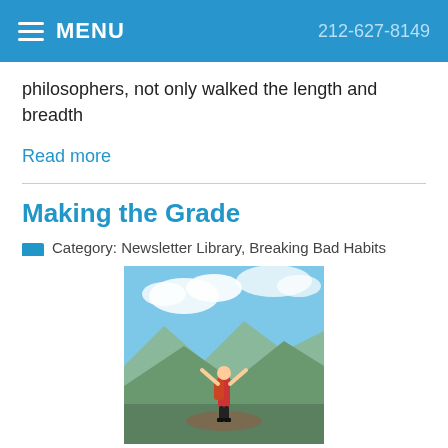MENU   212-627-8149
philosophers, not only walked the length and breadth
Read more
Making the Grade
Category: Newsletter Library, Breaking Bad Habits
[Figure (photo): Person with backpack standing on a mountain top with arms raised in celebration, mountain landscape in background with blue sky]
The recent school year has long been over, but the echoes of learning, striving, and achieving persist. We may, if we choose, apply these remembrances of